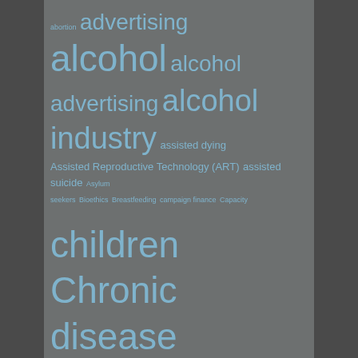[Figure (other): Word cloud on a dark gray background featuring health policy and public health related terms in varying font sizes rendered in light blue/steel blue color. Terms include: abortion, advertising, alcohol, alcohol advertising, alcohol industry, assisted dying, Assisted Reproductive Technology (ART), assisted suicide, Asylum seekers, Bioethics, Breastfeeding, campaign finance, Capacity, children, Chronic disease prevention, climate change, Coca Cola, communicable diseases, Conferences, consent to treatment, consumer protection law, Contagious diseases, Cosmetic surgery, Covid-19, Criminal law, diabetes, epidemics, euthanasia, family law, Food advertising, Food law, food policy, gender dysphoria, Global Health, Gun safety, health development, Health information privacy, Health Policy, health professionals, health security, Human rights, immigration detention]